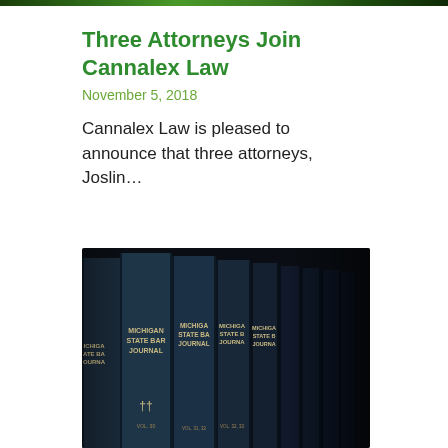[Figure (photo): Partial view of green plant or foliage at top of page, acting as decorative header image]
Three Attorneys Join Cannalex Law
November 5, 2018
Cannalex Law is pleased to announce that three attorneys, Joslin...
[Figure (photo): Row of dark blue Michigan State Bar Journal law books on a shelf, photographed close up with shallow depth of field]